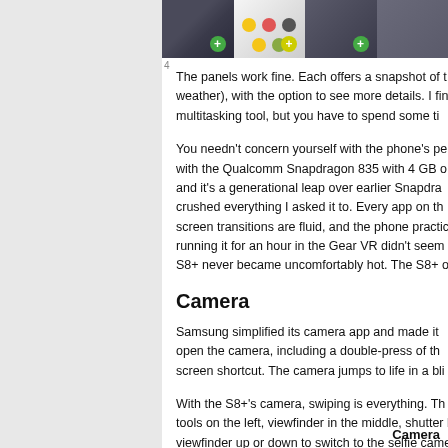[Figure (screenshot): Strip of four smartphone screenshot thumbnails showing app panels/icons]
The panels work fine. Each offers a snapshot of the weather), with the option to see more details. I fine multitasking tool, but you have to spend some ti
You needn't concern yourself with the phone's pe with the Qualcomm Snapdragon 835 with 4 GB o and it's a generational leap over earlier Snapdra crushed everything I asked it to. Every app on th screen transitions are fluid, and the phone practic running it for an hour in the Gear VR didn't seem S8+ never became uncomfortably hot. The S8+ o
Camera
Samsung simplified its camera app and made it open the camera, including a double-press of th screen shortcut. The camera jumps to life in a bli
With the S8+'s camera, swiping is everything. Th tools on the left, viewfinder in the middle, shutter b viewfinder up or down to switch to the selfie came modes, swipe left to open Instagram-style filters. and video buttons, which make it easy to snap p controls on the left allow you to toggle the flash a
Camera